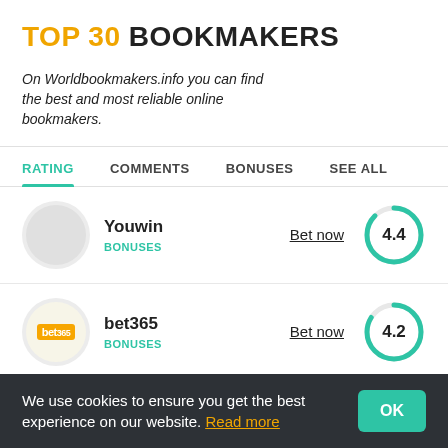TOP 30 BOOKMAKERS
On Worldbookmakers.info you can find the best and most reliable online bookmakers.
RATING | COMMENTS | BONUSES | SEE ALL
Youwin | BONUSES | Bet now | 4.4
bet365 | BONUSES | Bet now | 4.2
We use cookies to ensure you get the best experience on our website. Read more